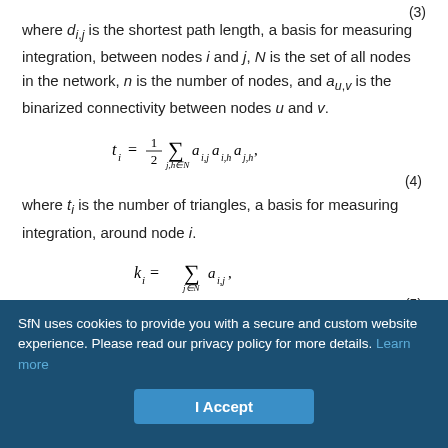where d_{i,j} is the shortest path length, a basis for measuring integration, between nodes i and j, N is the set of all nodes in the network, n is the number of nodes, and a_{u,v} is the binarized connectivity between nodes u and v.
(4)
where t_i is the number of triangles, a basis for measuring integration, around node i.
(5)
where k_i is the number of degrees, or number of links, connected to
SfN uses cookies to provide you with a secure and custom website experience. Please read our privacy policy for more details. Learn more